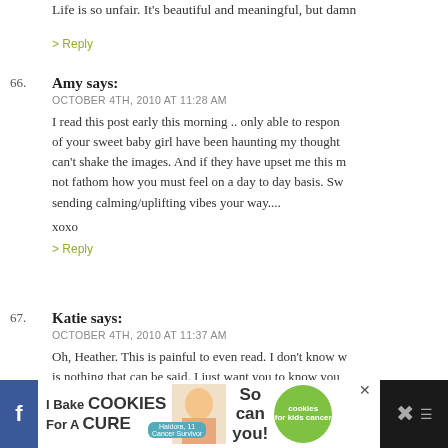Life is so unfair. It's beautiful and meaningful, but damn
> Reply
66. Amy says:
OCTOBER 4TH, 2010 AT 11:28 AM

I read this post early this morning .. only able to respond of your sweet baby girl have been haunting my thoughts can't shake the images. And if they have upset me this m not fathom how you must feel on a day to day basis. Sw sending calming/uplifting vibes your way....

xoxo

> Reply
67. Katie says:
OCTOBER 4TH, 2010 AT 11:37 AM

Oh, Heather. This is painful to even read. I don't know w is nothing that can be said. I just want you to know you thoughts. I'm so sorry.
[Figure (advertisement): Cookie baking advertisement for kids cancer charity with social media icons]